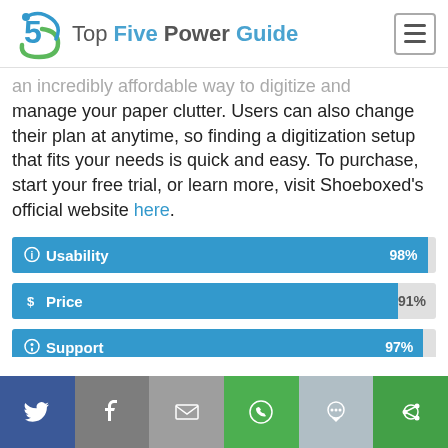Top Five Power Guide
an incredibly affordable way to digitize and manage your paper clutter. Users can also change their plan at anytime, so finding a digitization setup that fits your needs is quick and easy. To purchase, start your free trial, or learn more, visit Shoeboxed's official website here.
[Figure (infographic): Usability rating bar at 98%]
[Figure (infographic): Price rating bar at 91%]
[Figure (infographic): Support rating bar at 97% (partially visible)]
[Figure (infographic): Social sharing bar with Twitter, Facebook, Email, WhatsApp, SMS, More buttons]